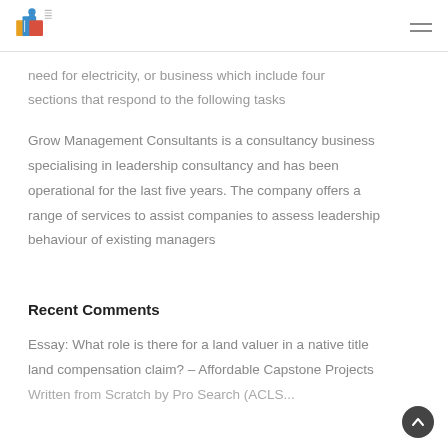[Logo] Capstone Project Writers | [hamburger menu icon]
need for electricity, or business which include four sections that respond to the following tasks
Grow Management Consultants is a consultancy business specialising in leadership consultancy and has been operational for the last five years. The company offers a range of services to assist companies to assess leadership behaviour of existing managers
Recent Comments
Essay: What role is there for a land valuer in a native title land compensation claim? – Affordable Capstone Projects Written from Scratch by Pro Search (ACLS...